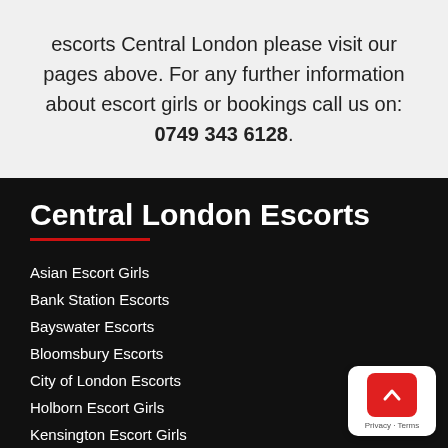escorts Central London please visit our pages above. For any further information about escort girls or bookings call us on: 0749 343 6128.
Central London Escorts
Asian Escort Girls
Bank Station Escorts
Bayswater Escorts
Bloomsbury Escorts
City of London Escorts
Holborn Escort Girls
Kensington Escort Girls